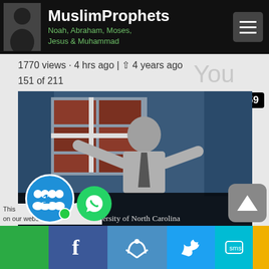MuslimProphets Noah, Abraham, Moses, Jesus & Muhammad
1770 views · 4 hrs ago | 4 years ago
151 of 211
[Figure (screenshot): YouTube video thumbnail showing Bart Ehrman, Religious Studies, University of North Carolina, with duration 1:59]
In 1707 AD, John Mill reported on 30,000 textual variants in 100 Bible manuscripts - Bart Ehrman
[Figure (screenshot): Mobile app bottom toolbar with social sharing buttons: WhatsApp (green), Facebook (dark blue), Like (blue), Twitter, SMS, and a gold segment; floating notification circle showing '1', WhatsApp button, and a scroll-to-top button]